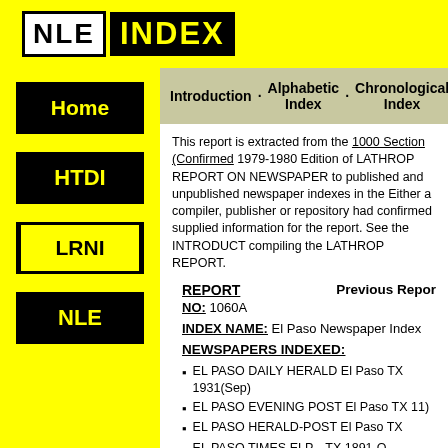NLE INDEX
Home
HTDI
LRNI
NLE
Introduction · Alphabetic Index · Chronological Index
This report is extracted from the 1000 Section (Confirmed 1979-1980 Edition of LATHROP REPORT ON NEWSPAPER to published and unpublished newspaper indexes in the Either a compiler, publisher or repository had confirmed supplied information for the report. See the INTRODUCT compiling the LATHROP REPORT.
REPORT
Previous Report
NO: 1060A
INDEX NAME: El Paso Newspaper Index
NEWSPAPERS INDEXED:
EL PASO DAILY HERALD El Paso TX 1931(Sep)
EL PASO EVENING POST El Paso TX 11)
EL PASO HERALD-POST El Paso TX
EL PASO TIMES ELP... TX 1891-O